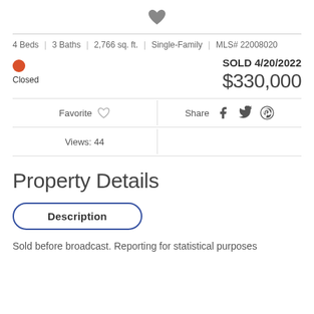[Figure (illustration): Heart icon (filled, dark gray) centered at top]
4 Beds | 3 Baths | 2,766 sq. ft. | Single-Family | MLS# 22008020
SOLD 4/20/2022
$330,000
Closed
Favorite  |  Share
Views: 44
Property Details
Description
Sold before broadcast. Reporting for statistical purposes